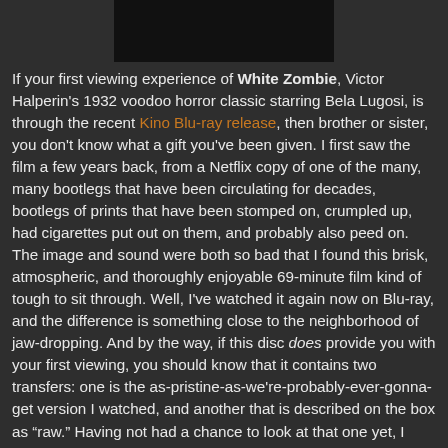[Figure (photo): Dark/black image at the top center of the page, likely a still from the film White Zombie]
If your first viewing experience of White Zombie, Victor Halperin's 1932 voodoo horror classic starring Bela Lugosi, is through the recent Kino Blu-ray release, then brother or sister, you don't know what a gift you've been given. I first saw the film a few years back, from a Netflix copy of one of the many, many bootlegs that have been circulating for decades, bootlegs of prints that have been stomped on, crumpled up, had cigarettes put out on them, and probably also peed on. The image and sound were both so bad that I found this brisk, atmospheric, and thoroughly enjoyable 69-minute film kind of tough to sit through. Well, I've watched it again now on Blu-ray, and the difference is something close to the neighborhood of jaw-dropping. And by the way, if this disc does provide you with your first viewing, you should know that it contains two transfers: one is the as-pristine-as-we're-probably-ever-gonna-get version I watched, and another that is described on the box as “raw.” Having not had a chance to look at that one yet, I couldn't tell you precisely what you'd be in store for with it, but I'd have to guess even that one looks better than any previous video release, or